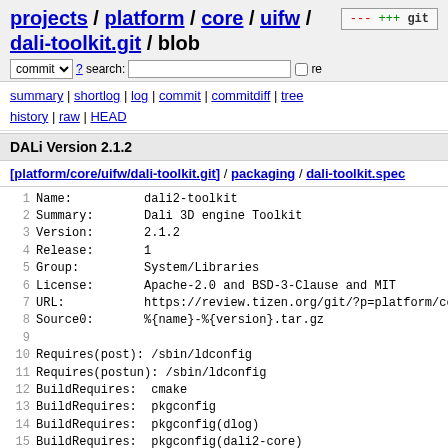projects / platform / core / uifw / dali-toolkit.git / blob
commit ? search: re
summary | shortlog | log | commit | commitdiff | tree history | raw | HEAD
DALi Version 2.1.2
[platform/core/uifw/dali-toolkit.git] / packaging / dali-toolkit.spec
1  Name:        dali2-toolkit
2  Summary:     Dali 3D engine Toolkit
3  Version:     2.1.2
4  Release:     1
5  Group:       System/Libraries
6  License:     Apache-2.0 and BSD-3-Clause and MIT
7  URL:         https://review.tizen.org/git/?p=platform/co
8  Source0:     %{name}-%{version}.tar.gz
9
10 Requires(post): /sbin/ldconfig
11 Requires(postun): /sbin/ldconfig
12 BuildRequires:  cmake
13 BuildRequires:  pkgconfig
14 BuildRequires:  pkgconfig(dlog)
15 BuildRequires:  pkgconfig(dali2-core)
16 BuildRequires:  pkgconfig(dali2-adaptor)
17 BuildRequires:  gettext
18 BuildRequires:  pkgconfig(libtzplatform-config)
19